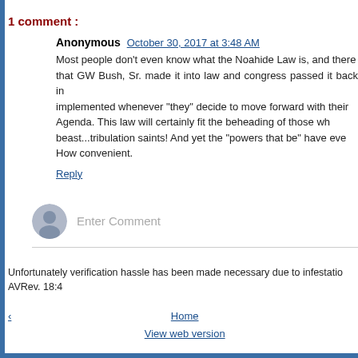1 comment :
Anonymous  October 30, 2017 at 3:48 AM
Most people don't even know what the Noahide Law is, and there... that GW Bush, Sr. made it into law and congress passed it back in... implemented whenever "they" decide to move forward with their... Agenda. This law will certainly fit the beheading of those wh... beast...tribulation saints! And yet the "powers that be" have eve... How convenient.
Reply
Enter Comment
Unfortunately verification hassle has been made necessary due to infestatio... AVRev. 18:4
Home
View web version